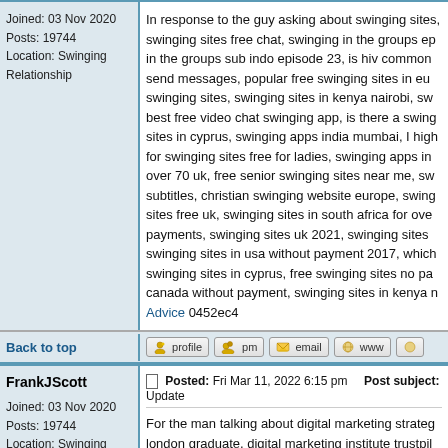Joined: 03 Nov 2020
Posts: 19744
Location: Swinging Relationship
In response to the guy asking about swinging sites, swinging sites free chat, swinging in the groups ep in the groups sub indo episode 23, is hiv common send messages, popular free swinging sites in eu swinging sites, swinging sites in kenya nairobi, sw best free video chat swinging app, is there a swing sites in cyprus, swinging apps india mumbai, I high for swinging sites free for ladies, swinging apps in over 70 uk, free senior swinging sites near me, sw subtitles, christian swinging website europe, swing sites free uk, swinging sites in south africa for ove payments, swinging sites uk 2021, swinging sites swinging sites in usa without payment 2017, which swinging sites in cyprus, free swinging sites no pa canada without payment, swinging sites in kenya n Advice 0452ec4
Back to top
FrankJScott
Posted: Fri Mar 11, 2022 6:15 pm    Post subject: Update
Joined: 03 Nov 2020
Posts: 19744
Location: Swinging Relationship
For the man talking about digital marketing strateg london graduate, digital marketing institute trustpil cruise ships jobs in dubai, disney cruise ship in liv marketing jobs birmingham, team building activitie